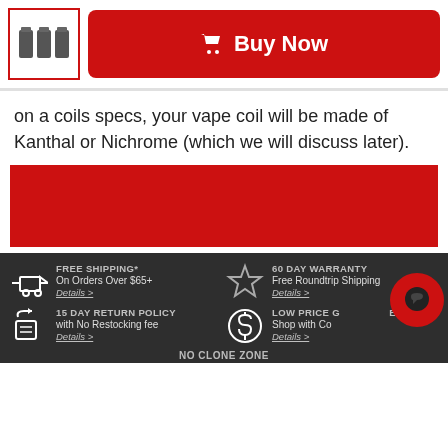[Figure (screenshot): Product thumbnail showing three black vape coil bottles in a red-bordered box, next to a red Buy Now button with shopping cart icon]
on a coils specs, your vape coil will be made of Kanthal or Nichrome (which we will discuss later).
[Figure (other): Red banner/advertisement block]
FREE SHIPPING* On Orders Over $65+ Details >
60 DAY WARRANTY Free Roundtrip Shipping Details >
15 DAY RETURN POLICY with No Restocking fee Details >
LOW PRICE GUARANTEE Shop with Confidence Details >
NO CLONE ZONE